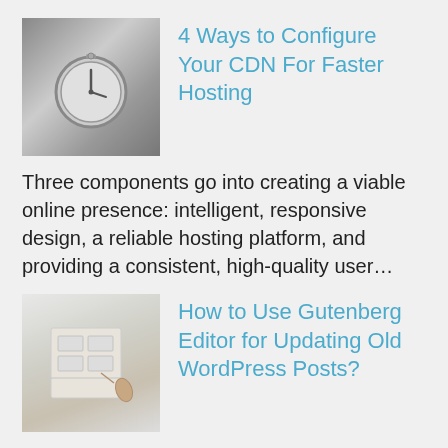[Figure (photo): Thumbnail image of a stopwatch/pocket watch in grayscale]
4 Ways to Configure Your CDN For Faster Hosting
Three components go into creating a viable online presence: intelligent, responsive design, a reliable hosting platform, and providing a consistent, high-quality user…
[Figure (photo): Thumbnail image of a person's hand drawing or writing on paper/wireframe]
How to Use Gutenberg Editor for Updating Old WordPress Posts?
Many of you have this misconception regarding the new WordPress editor is just an addition. Well, it's not! It's rather a full-fledged…
How to Start an Online Business Without Money
There has never been a better time to start your own online